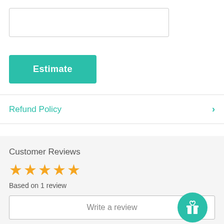[Figure (other): Empty input text box with border]
Estimate
Refund Policy
Customer Reviews
[Figure (other): 4 gold star rating icons]
Based on 1 review
Write a review
Ask a question